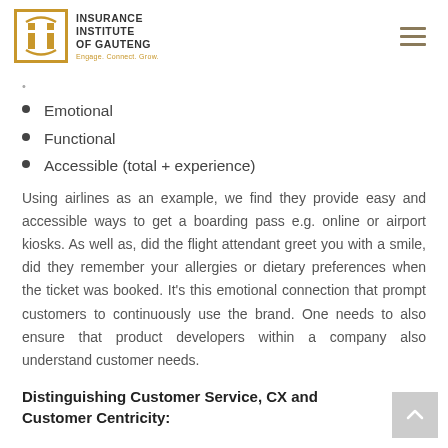Insurance Institute of Gauteng — Engage. Connect. Grow.
Emotional
Functional
Accessible (total + experience)
Using airlines as an example, we find they provide easy and accessible ways to get a boarding pass e.g. online or airport kiosks. As well as, did the flight attendant greet you with a smile, did they remember your allergies or dietary preferences when the ticket was booked. It's this emotional connection that prompt customers to continuously use the brand. One needs to also ensure that product developers within a company also understand customer needs.
Distinguishing Customer Service, CX and Customer Centricity: